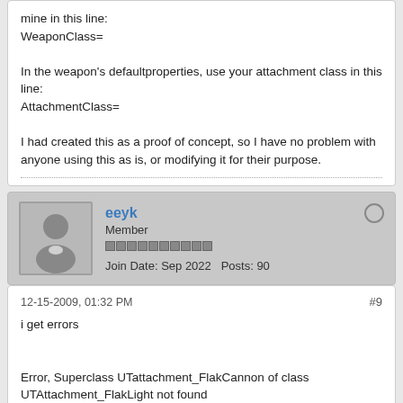mine in this line:
WeaponClass=

In the weapon's defaultproperties, use your attachment class in this line:
AttachmentClass=

I had created this as a proof of concept, so I have no problem with anyone using this as is, or modifying it for their purpose.
eeyk
Member
Join Date: Sep 2022   Posts: 90
12-15-2009, 01:32 PM
#9
i get errors

Error, Superclass UTattachment_FlakCannon of class UTAttachment_FlakLight not found
Error, Superclass UTWeap_FlakCannon of class UTWeap_LightFlak not found
Compile aborted due to errors.